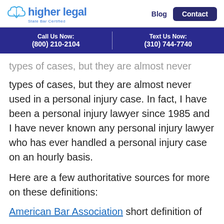higher legal — State Bar Certified | Blog | Contact
Call Us Now: (800) 210-2104 | Text Us Now: (310) 744-7740
types of cases, but they are almost never used in a personal injury case. In fact, I have been a personal injury lawyer since 1985 and I have never known any personal injury lawyer who has ever handled a personal injury case on an hourly basis.
Here are a few authoritative sources for more on these definitions:
American Bar Association short definition of